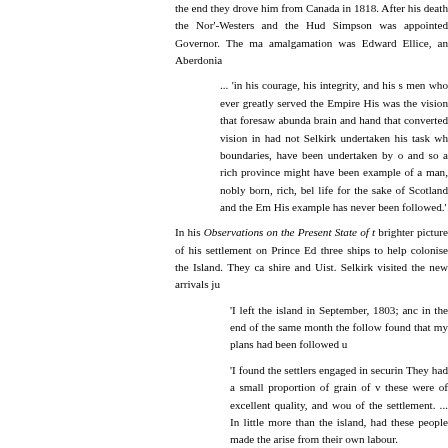the end they drove him from Canada in 1818. After his death the Nor'-Westers and the Hudson Bay Company amalgamated, and Simpson was appointed Governor. The man who arranged the amalgamation was Edward Ellice, an Aberdonian.
... 'in his courage, his integrity, and his s... men who ever greatly served the Empire... His was the vision that foresaw abunda... brain and hand that converted vision in... had not Selkirk undertaken his task whe... boundaries, have been undertaken by o... and so a rich province might have been... example of a man, nobly born, rich, bel... life for the sake of Scotland and the Em... His example has never been followed.'
In his Observations on the Present State of t... brighter picture of his settlement on Prince Ed... three ships to help colonise the Island. They ca... shire and Uist. Selkirk visited the new arrivals ju...
'I left the island in September, 1803; and... in the end of the same month the follow... found that my plans had been followed u...
'I found the settlers engaged in securin... They had a small proportion of grain of v... these were of excellent quality, and wou... of the settlement. ... In little more than... the island, had these people made the... arise from their own labour.